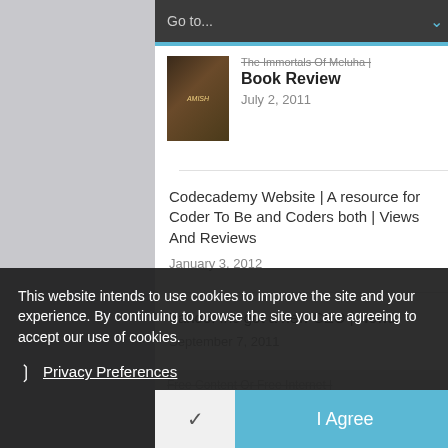[Figure (screenshot): Dropdown navigation bar with 'Go to...' text and blue chevron arrow on dark background]
[Figure (photo): Book cover thumbnail for The Immortals Of Meluha]
The Immortals Of Meluha | Book Review
July 2, 2011
Codecademy Website | A resource for Coder To Be and Coders both | Views And Reviews
January 3, 2012
Yahoo! Inc got a new CEO | News
September 7, 2011
Free Content Or Free Internet |
This website intends to use cookies to improve the site and your experience. By continuing to browse the site you are agreeing to accept our use of cookies.
❯ Privacy Preferences
✓  I Agree
Param Veer Chakra | TV Serial We Want To See On D...
March 22, 2012
EBook | Personal Reviews